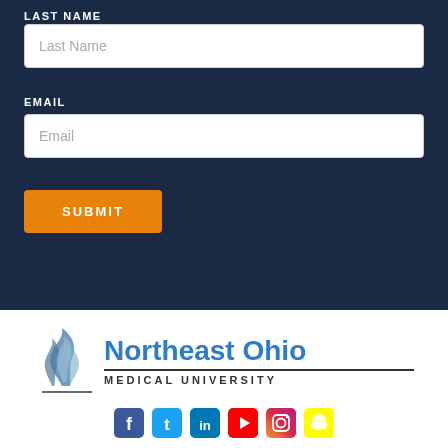LAST NAME
Last Name
EMAIL
Email
SUBMIT
[Figure (logo): Northeast Ohio Medical University logo with stylized flame/feather icon in blue-grey and blue text reading 'Northeast Ohio MEDICAL UNIVERSITY']
[Figure (infographic): Social media icons row: Facebook, Twitter, LinkedIn, YouTube, Instagram, Snapchat]